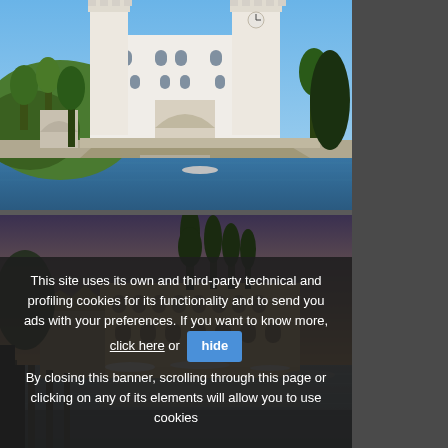[Figure (photo): White ornate castle/palazzo by the sea (Miramare Castle, Trieste), with turrets, arched windows, greenery, stone seawall, and blue water in the foreground under a blue sky]
[Figure (photo): Rustic historic building on the waterfront at dusk or dawn, with tall cypress trees, HDR-toned atmosphere, wooden dock posts in calm water, sky with warm and cool hues]
This site uses its own and third-party technical and profiling cookies for its functionality and to send you ads with your preferences. If you want to know more, click here or hide By closing this banner, scrolling through this page or clicking on any of its elements will allow you to use cookies